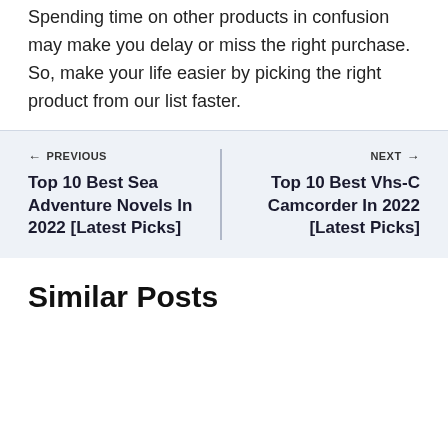Spending time on other products in confusion may make you delay or miss the right purchase. So, make your life easier by picking the right product from our list faster.
← PREVIOUS
Top 10 Best Sea Adventure Novels In 2022 [Latest Picks]
NEXT →
Top 10 Best Vhs-C Camcorder In 2022 [Latest Picks]
Similar Posts